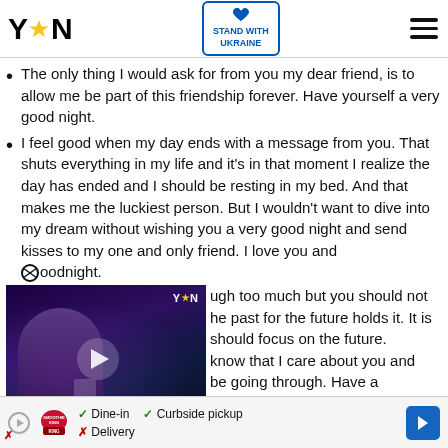YEN | STAND WITH UKRAINE
The only thing I would ask for from you my dear friend, is to allow me be part of this friendship forever. Have yourself a very good night.
I feel good when my day ends with a message from you. That shuts everything in my life and it's in that moment I realize the day has ended and I should be resting in my bed. And that makes me the luckiest person. But I wouldn't want to dive into my dream without wishing you a very good night and send kisses to my one and only friend. I love you and Goodnight.
[Figure (screenshot): Video thumbnail showing a woman being interviewed with a YEN logo overlay, play button in center, and a red down-arrow button at the bottom.]
ugh too much but you should not he past for the future holds it. It is should focus on the future. know that I care about you and be going through. Have a
[Figure (infographic): Advertisement banner: Smoothie King logo with Dine-in, Curbside pickup checkmarks, Delivery with X mark, and a blue navigation arrow icon.]